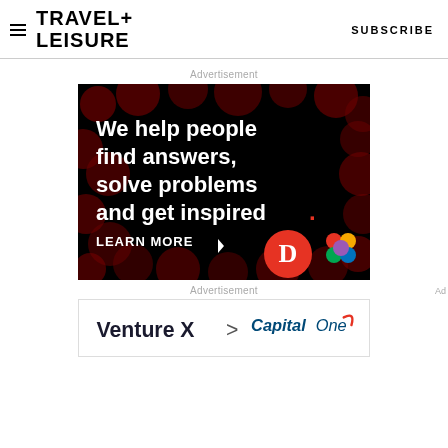TRAVEL+ LEISURE  SUBSCRIBE
Advertisement
[Figure (illustration): Dark advertisement banner with red bokeh circles on black background. Text reads: 'We help people find answers, solve problems and get inspired.' with 'LEARN MORE' call to action and Dotdash Meredith logos.]
Advertisement
[Figure (illustration): Venture X Capital One credit card advertisement banner showing 'Venture X > Capital One' with Capital One logo.]